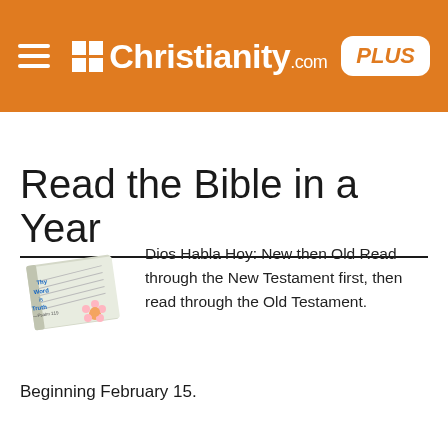Christianity.com PLUS
Read the Bible in a Year
[Figure (illustration): A Bible with a flower on it, with text 'Thy Word is Truth - Psalm 119']
Dios Habla Hoy: New then Old Read through the New Testament first, then read through the Old Testament.
Beginning February 15.